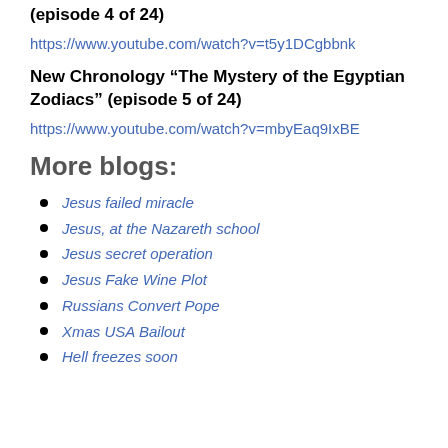(episode 4 of 24)
https://www.youtube.com/watch?v=t5y1DCgbbnk
New Chronology “The Mystery of the Egyptian Zodiacs” (episode 5 of 24)
https://www.youtube.com/watch?v=mbyEaq9IxBE
More blogs:
Jesus failed miracle
Jesus, at the Nazareth school
Jesus secret operation
Jesus Fake Wine Plot
Russians Convert Pope
Xmas USA Bailout
Hell freezes soon